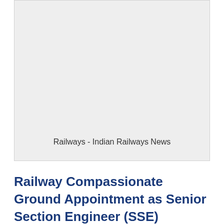[Figure (other): Grey placeholder image for Railways - Indian Railways News]
Railways - Indian Railways News
Railway Compassionate Ground Appointment as Senior Section Engineer (SSE)